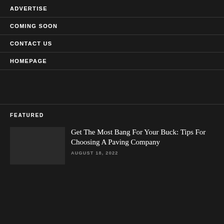ADVERTISE
COMING SOON
CONTACT US
HOMEPAGE
FEATURED
Get The Most Bang For Your Buck: Tips For Choosing A Paving Company
AUGUST 18, 2022